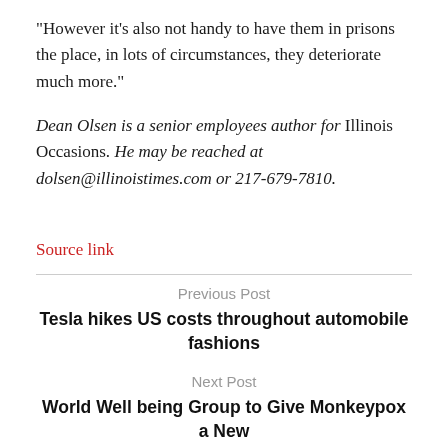“However it’s also not handy to have them in prisons the place, in lots of circumstances, they deteriorate much more.”
Dean Olsen is a senior employees author for Illinois Occasions. He may be reached at dolsen@illinoistimes.com or 217-679-7810.
Source link
Previous Post
Tesla hikes US costs throughout automobile fashions
Next Post
World Well being Group to Give Monkeypox a New